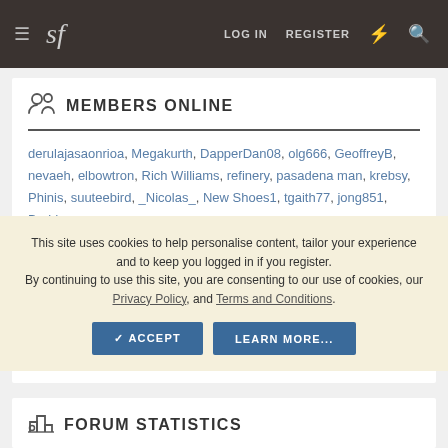sf | LOG IN | REGISTER
MEMBERS ONLINE
derulajasaonrioa, Megakurth, DapperDan08, olg666, GeoffreyB, nevaeh, elbowtron, Rich Williams, refinery, pasadena man, krebsy, Phinis, suuteebird, _Nicolas_, New Shoes1, tgaith77, jong851, Braid,
This site uses cookies to help personalise content, tailor your experience and to keep you logged in if you register.
By continuing to use this site, you are consenting to our use of cookies, our Privacy Policy, and Terms and Conditions.
Total: 1,471 (members: 104, guests: 1,367)
FORUM STATISTICS